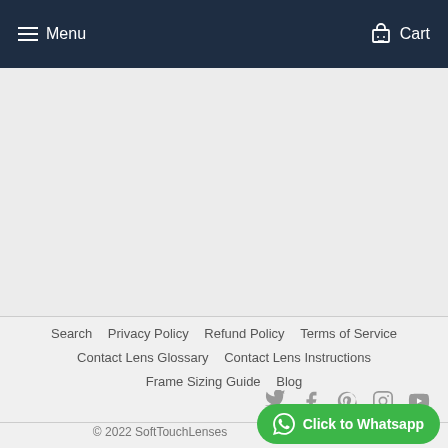Menu   Cart
Search   Privacy Policy   Refund Policy   Terms of Service   Contact Lens Glossary   Contact Lens Instructions   Frame Sizing Guide   Blog
© 2022 SoftTouchLenses
Click to Whatsapp